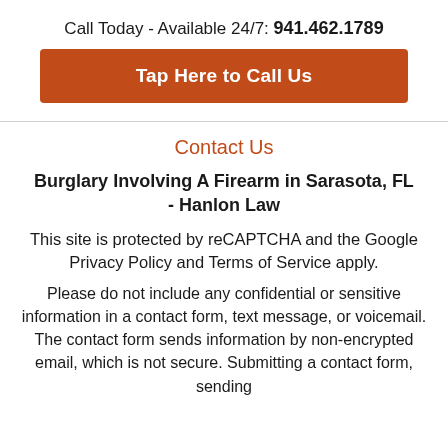Call Today - Available 24/7: 941.462.1789
Tap Here to Call Us
Contact Us
Burglary Involving A Firearm in Sarasota, FL - Hanlon Law
This site is protected by reCAPTCHA and the Google Privacy Policy and Terms of Service apply.
Please do not include any confidential or sensitive information in a contact form, text message, or voicemail. The contact form sends information by non-encrypted email, which is not secure. Submitting a contact form, sending